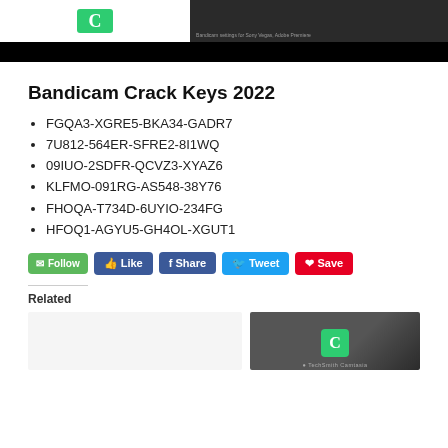[Figure (screenshot): Top portion of a webpage with a green logo area on left and dark software interface screenshot on right, with a black bar below]
Bandicam Crack Keys 2022
FGQA3-XGRE5-BKA34-GADR7
7U812-564ER-SFRE2-8I1WQ
09IUO-2SDFR-QCVZ3-XYAZ6
KLFMO-091RG-AS548-38Y76
FHOQA-T734D-6UYIO-234FG
HFOQ1-AGYU5-GH4OL-XGUT1
[Figure (screenshot): Social media buttons row: Follow (green), Like (blue), Share (blue Facebook), Tweet (blue Twitter), Save (red Pinterest)]
Related
[Figure (screenshot): Related section with a dark thumbnail showing TechSmith Camtasia logo on the right side]